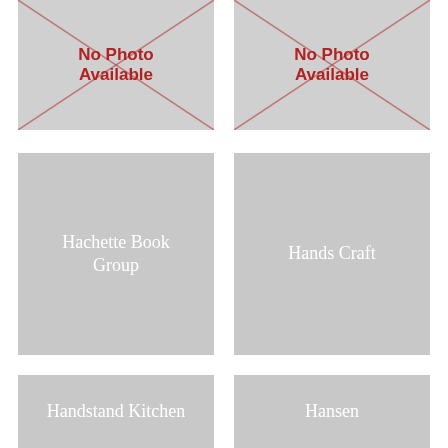[Figure (photo): No Photo Available placeholder image, top-left]
[Figure (photo): No Photo Available placeholder image, top-right]
[Figure (photo): Gray placeholder image with text: Hachette Book Group]
[Figure (photo): Gray placeholder image with text: Hands Craft]
[Figure (photo): Gray placeholder image with text: Handstand Kitchen]
[Figure (photo): Gray placeholder image with text: Hansen]